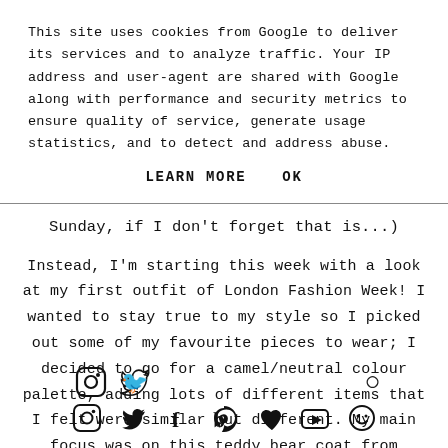This site uses cookies from Google to deliver its services and to analyze traffic. Your IP address and user-agent are shared with Google along with performance and security metrics to ensure quality of service, generate usage statistics, and to detect and address abuse.
LEARN MORE    OK
Sunday, if I don't forget that is...)
Instead, I'm starting this week with a look at my first outfit of London Fashion Week! I wanted to stay true to my style so I picked out some of my favourite pieces to wear; I decided to go for a camel/neutral colour palette, adding lots of different items that I felt were similar but different. My main focus was on this teddy bear coat from Missguided which I only bought a few weeks ago, for most people, that would be too late to buy into a
[Figure (other): Social media icons row: Instagram, Twitter, Facebook, Pinterest, Heart, YouTube, and a smiley/circle icon]